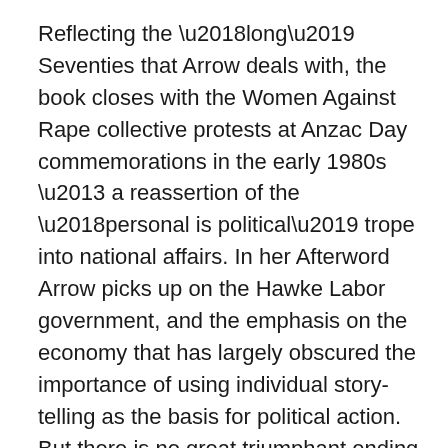Reflecting the ‘long’ Seventies that Arrow deals with, the book closes with the Women Against Rape collective protests at Anzac Day commemorations in the early 1980s – a reassertion of the ‘personal is political’ trope into national affairs. In her Afterword Arrow picks up on the Hawke Labor government, and the emphasis on the economy that has largely obscured the importance of using individual story-telling as the basis for political action. But there is no great triumphant ending here. Perhaps the most important legacy is the continuation of the recognition that the personal is political, as seen in the Human Rights Commission Bringing Them Home report in 1997 and the Royal Commission into Institutional Responses to Child Sexual Abuse in 2017. But, as Arrow points out, too often “personal stories are told without